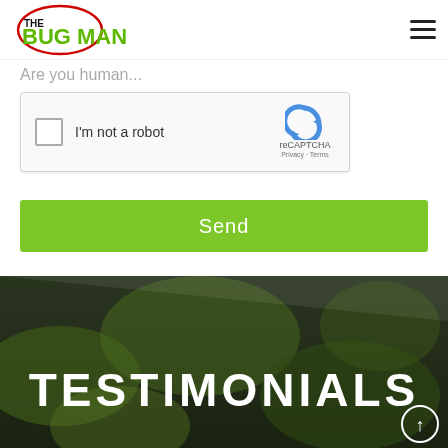THE BUG MAN
Are you human...
[Figure (screenshot): reCAPTCHA widget with checkbox labeled 'I'm not a robot', reCAPTCHA logo, Privacy and Terms links]
Send
TESTIMONIALS